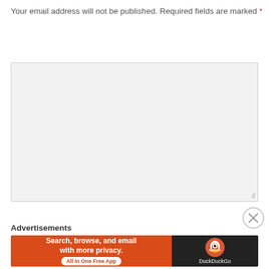Your email address will not be published. Required fields are marked *
[Figure (screenshot): Empty textarea/comment input box with light gray background and resize handle]
[Figure (other): Close/dismiss button (circled X)]
Advertisements
[Figure (other): DuckDuckGo advertisement banner: orange left panel with text 'Search, browse, and email with more privacy. All in One Free App' and dark right panel with DuckDuckGo logo]